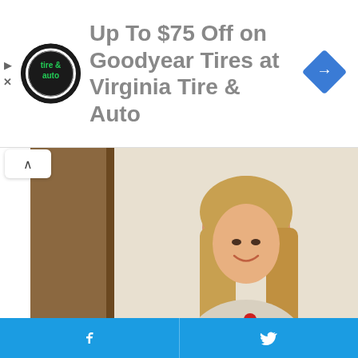[Figure (screenshot): Advertisement banner for Virginia Tire & Auto offering Up To $75 Off on Goodyear Tires, with tire & auto logo circle on left and blue diamond direction sign on right]
[Figure (photo): Photo of an older woman with long blonde hair wearing a floral patterned dress, smiling at camera, standing near a mirror]
Men, You Don't Need Viagra If You Do This Once A Day
CBD GUMMIES
[Figure (photo): Close-up photo of white teeth/dental image, partially visible at bottom of page]
[Figure (screenshot): Social sharing bar with Facebook and Twitter icons on blue background at bottom of page]